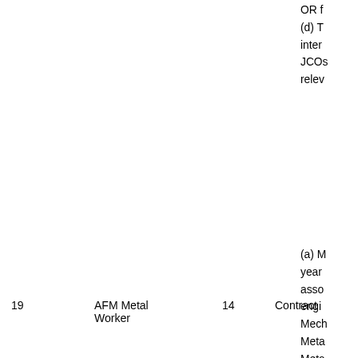OR f
(d) T
inter
JCOs
relev
(a) M
year
asso
engi
Mech
Meta
Meta
Proc
reco
tech
instit
poly
instit
year
| 19 | AFM Metal Worker | 14 | Contract |  |